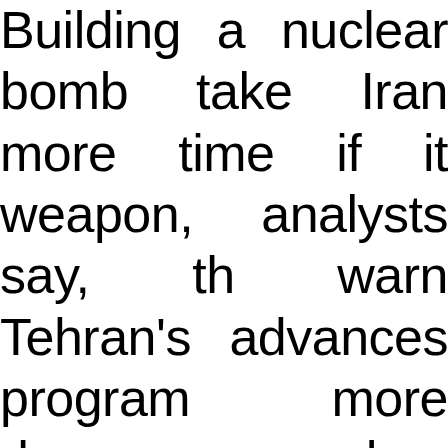Building a nuclear bomb take Iran more time if it weapon, analysts say, th warn Tehran's advances program more danger has threatened in the carry out a preemptive stop Iran — and suspected in a series killings targeting Iranian